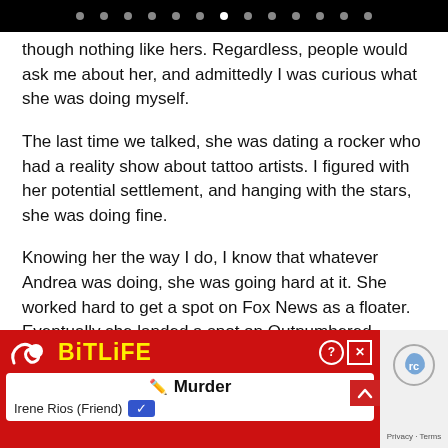navigation dots
though nothing like hers. Regardless, people would ask me about her, and admittedly I was curious what she was doing myself.
The last time we talked, she was dating a rocker who had a reality show about tattoo artists. I figured with her potential settlement, and hanging with the stars, she was doing fine.
Knowing her the way I do, I know that whatever Andrea was doing, she was going hard at it. She worked hard to get a spot on Fox News as a floater. Eventually she landed a spot on Outnumbered.
[Figure (screenshot): BitLife mobile game advertisement showing Murder screen with Irene Rios (Friend) option, red background with yellow BitLife logo]